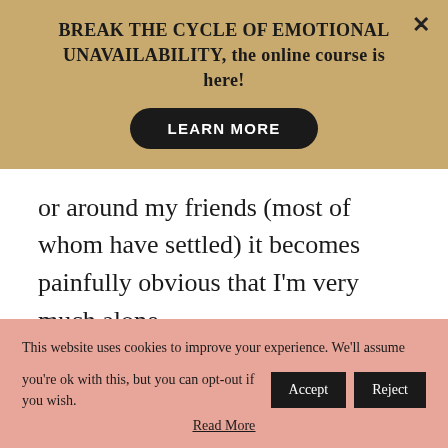BREAK THE CYCLE OF EMOTIONAL UNAVAILABILITY, the online course is here!
LEARN MORE
or around my friends (most of whom have settled) it becomes painfully obvious that I'm very much alone.

On the bright side, at least I can
This website uses cookies to improve your experience. We'll assume you're ok with this, but you can opt-out if you wish.
Read More